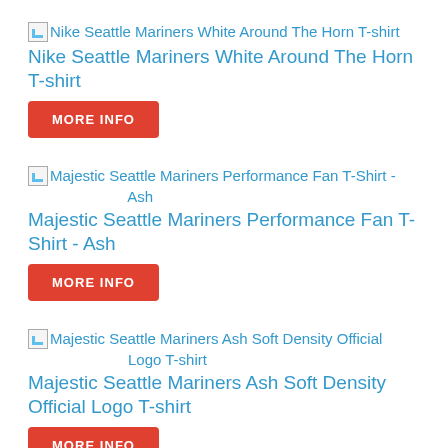Nike Seattle Mariners White Around The Horn T-shirt
Nike Seattle Mariners White Around The Horn T-shirt
MORE INFO
Majestic Seattle Mariners Performance Fan T-Shirt - Ash
Majestic Seattle Mariners Performance Fan T-Shirt - Ash
MORE INFO
Majestic Seattle Mariners Ash Soft Density Official Logo T-shirt
Majestic Seattle Mariners Ash Soft Density Official Logo T-shirt
MORE INFO